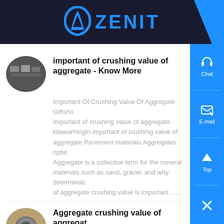ZENIT
important of crushing value of aggregate - Know More
Important Of Crushing Value Of Aggregate Giftshop Important of crushing value of aggregate kilawarhingin important of crushing value of aggregate Pavement materials Aggregates nptel Aggregate is a collective term for the mineral materials such as sand, gravel, and why determination of aggregate crushing value is important , ....
Aggregate crushing value of aggregate with cement , - Know More
BS 812 part 110 describes a method to determine th...